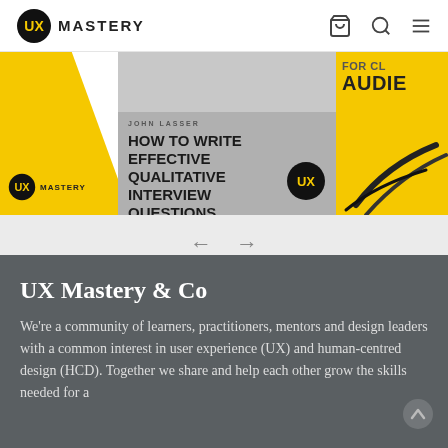UX MASTERY
[Figure (screenshot): Carousel showing book/resource cards. Left card: yellow background with UX Mastery logo and diagonal white element. Center card: gray background with 'JOHN LASSER - HOW TO WRITE EFFECTIVE QUALITATIVE INTERVIEW QUESTIONS' text and UX Mastery badge. Right card: yellow background with 'FOR YOUR AUDIE...' text and black brush strokes.]
← →
UX Mastery & Co
We're a community of learners, practitioners, mentors and design leaders with a common interest in user experience (UX) and human-centred design (HCD). Together we share and help each other grow the skills needed for a